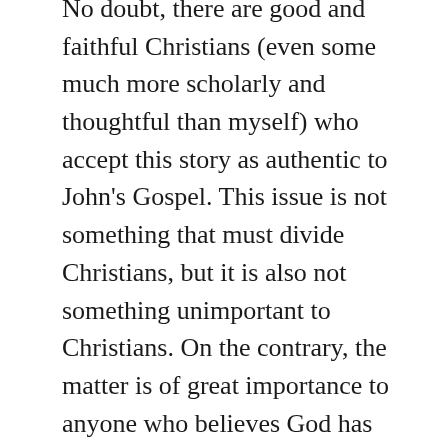No doubt, there are good and faithful Christians (even some much more scholarly and thoughtful than myself) who accept this story as authentic to John's Gospel. This issue is not something that must divide Christians, but it is also not something unimportant to Christians. On the contrary, the matter is of great importance to anyone who believes God has spoken. Since God has spoken, we must be very careful to pay attention to what He has said, and we must also be very careful to guard our mouths against claiming divine authority for only those words that have actually come from God.
Wherever you land in this discussion, may God help us all to give effort and consideration to